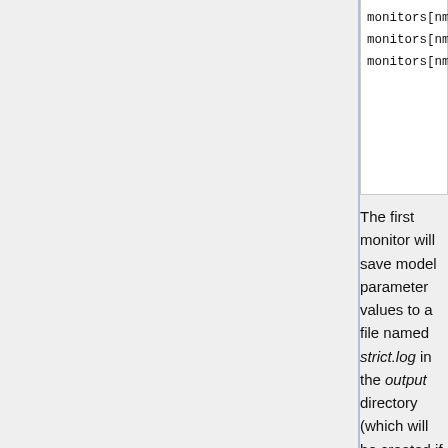[Figure (screenshot): Code block showing three lines: monitors[nmonitors++] = mnModel..., monitors[nmonitors++] = mnFile..., monitors[nmonitors++] = mnScree...]
The first monitor will save model parameter values to a file named strict.log in the output directory (which will be created if necessary). The second monitor will save trees to a file named strict.trees in the output directory. Note that we have to give it timetree as an argument. This is kind of silly because we've fixed the tree topology and edge lengths, so all the lines in the output.strict.trees will be identical, but this saves me having to explain this later. Finally, the third monitor produces output to the console so that you can monitor progress.